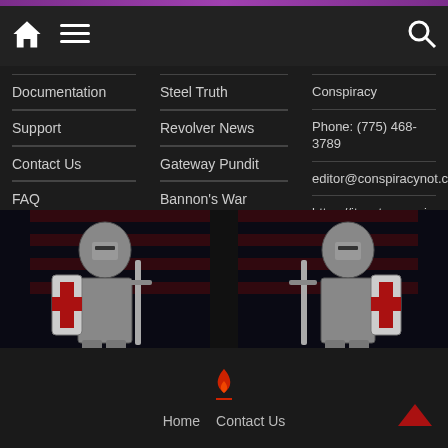Navigation header with home, menu, and search icons
Documentation
Support
Contact Us
FAQ
Steel Truth
Revolver News
Gateway Pundit
Bannon's War Room
Centipede Nation
Americas Frontline Doctors
Conspiracy
Phone: (775) 468-3789
editor@conspiracynot.com
https://itsnotaconspiracy.com
[Figure (illustration): Two Crusader knight illustrations in armor with red cross shields and swords, on dark background with American flag]
Home   Contact Us